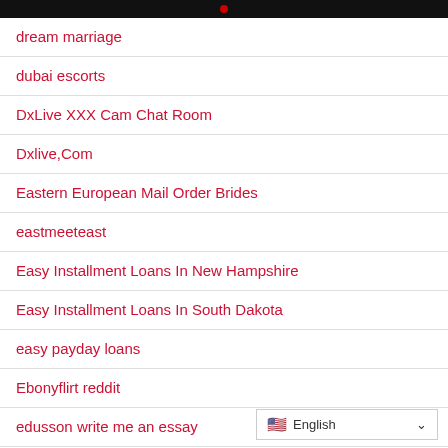dream marriage
dubai escorts
DxLive XXX Cam Chat Room
Dxlive,Com
Eastern European Mail Order Brides
eastmeeteast
Easy Installment Loans In New Hampshire
Easy Installment Loans In South Dakota
easy payday loans
Ebonyflirt reddit
edusson write me an essay
English